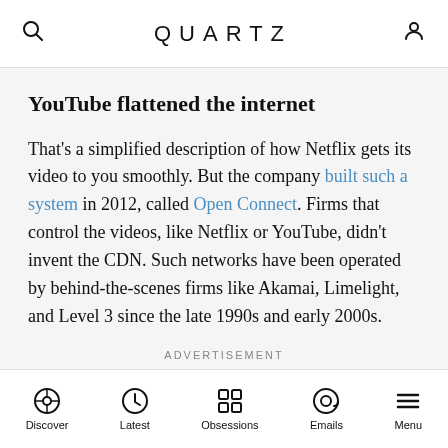QUARTZ
YouTube flattened the internet
That's a simplified description of how Netflix gets its video to you smoothly. But the company built such a system in 2012, called Open Connect. Firms that control the videos, like Netflix or YouTube, didn't invent the CDN. Such networks have been operated by behind-the-scenes firms like Akamai, Limelight, and Level 3 since the late 1990s and early 2000s.
ADVERTISEMENT
Discover | Latest | Obsessions | Emails | Menu